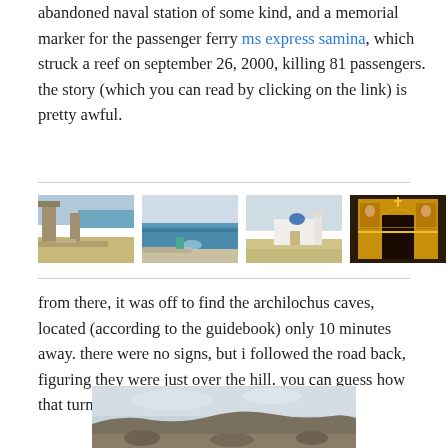abandoned naval station of some kind, and a memorial marker for the passenger ferry ms express samina, which struck a reef on september 26, 2000, killing 81 passengers. the story (which you can read by clicking on the link) is pretty awful.
[Figure (photo): Four small photos in a row: ruins of a stone structure near the sea, rocky coastline with blue water, a white church building, interior of a church with golden iconostasis]
from there, it was off to find the archilochus caves, located (according to the guidebook) only 10 minutes away. there were no signs, but i followed the road back, figuring they were just over the hill. you can guess how that turned out.
[Figure (photo): A landscape photo showing a rocky hillside with a pale sky]